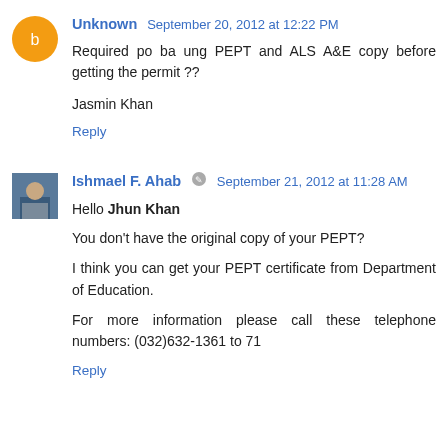Unknown September 20, 2012 at 12:22 PM
Required po ba ung PEPT and ALS A&E copy before getting the permit ??

Jasmin Khan
Reply
Ishmael F. Ahab September 21, 2012 at 11:28 AM
Hello Jhun Khan

You don't have the original copy of your PEPT?

I think you can get your PEPT certificate from Department of Education.

For more information please call these telephone numbers: (032)632-1361 to 71
Reply